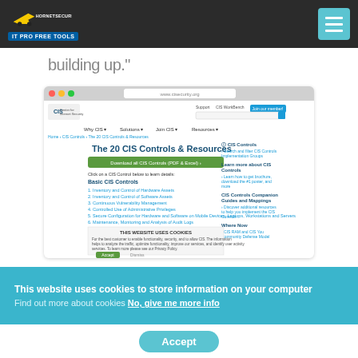[Figure (logo): Hornetsecurity logo with yellow arrow/car graphic and 'IT PRO FREE TOOLS' badge on dark nav bar]
building up."
[Figure (screenshot): Screenshot of the CIS website showing 'The 20 CIS Controls & Resources' page with navigation, download button, and Basic CIS Controls list]
A Free eBook
This website uses cookies to store information on your computer
Find out more about cookies No, give me more info